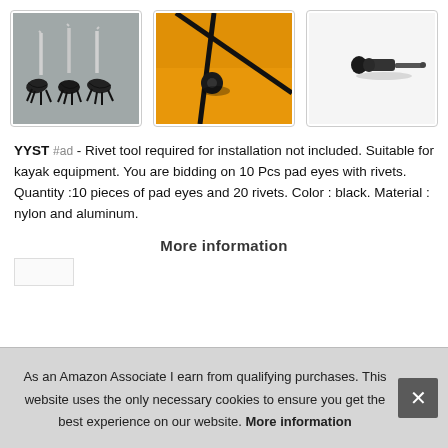[Figure (photo): Three black pad eye rivets with metallic pins on a metallic surface]
[Figure (photo): Close-up of a black rivet/pad eye installed on an orange surface with a rod through it]
[Figure (photo): Single black aluminum rivet with stem on white background]
YYST #ad - Rivet tool required for installation not included. Suitable for kayak equipment. You are bidding on 10 Pcs pad eyes with rivets. Quantity :10 pieces of pad eyes and 20 rivets. Color : black. Material : nylon and aluminum.
More information
As an Amazon Associate I earn from qualifying purchases. This website uses the only necessary cookies to ensure you get the best experience on our website. More information
Manufacturer